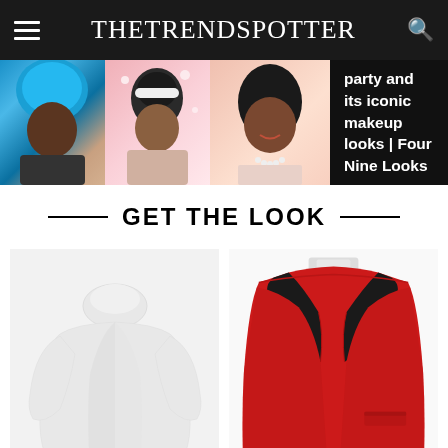TheTrendSpotter
[Figure (photo): Banner strip showing three women with makeup looks and text overlay 'party and its iconic makeup looks | Four Nine Looks']
GET THE LOOK
[Figure (photo): White turtleneck cropped sweater on white background]
[Figure (photo): Red blazer jacket with black lapels on white background]